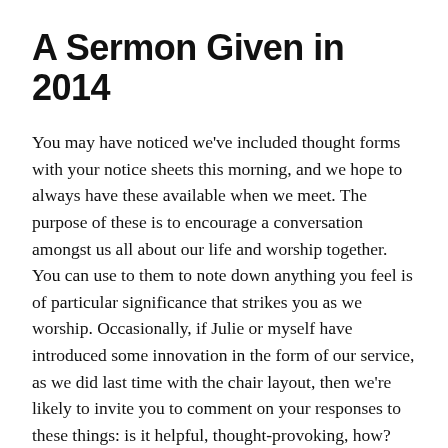A Sermon Given in 2014
You may have noticed we've included thought forms with your notice sheets this morning, and we hope to always have these available when we meet. The purpose of these is to encourage a conversation amongst us all about our life and worship together. You can use to them to note down anything you feel is of particular significance that strikes you as we worship. Occasionally, if Julie or myself have introduced some innovation in the form of our service, as we did last time with the chair layout, then we're likely to invite you to comment on your responses to these things: is it helpful, thought-provoking, how?
I don't have a specific question for you to reflect on this morning, although you'd be more than welcome to reflect on the chair arrangement, but just wanted to explain again what the forms were for and to invite your contributions